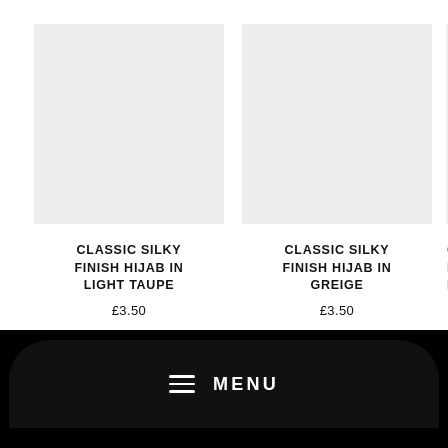[Figure (photo): Light grey placeholder product image for Classic Silky Finish Hijab in Light Taupe]
CLASSIC SILKY FINISH HIJAB IN LIGHT TAUPE
£3.50
[Figure (photo): Light grey placeholder product image for Classic Silky Finish Hijab in Greige]
CLASSIC SILKY FINISH HIJAB IN GREIGE
£3.50
[Figure (photo): Light grey placeholder product image for Classic Silky Finish Hijab (partially visible, color starts with BL)]
CLASSIC SILKY FINISH H...BL
£...
≡ MENU